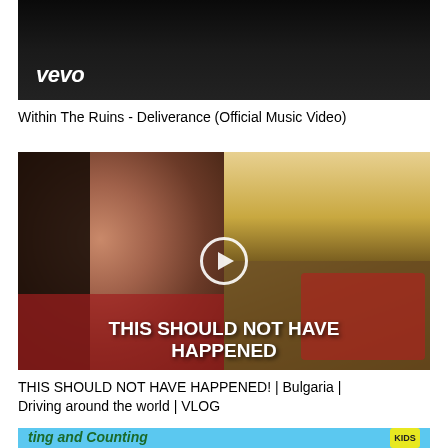[Figure (screenshot): YouTube thumbnail for 'Within The Ruins - Deliverance (Official Music Video)' with Vevo logo on dark background]
Within The Ruins - Deliverance (Official Music Video)
[Figure (screenshot): YouTube thumbnail showing a woman with red lipstick on the left and another woman with a phone on the right, with text overlay 'THIS SHOULD NOT HAVE HAPPENED' and a play button in the center]
THIS SHOULD NOT HAVE HAPPENED! | Bulgaria | Driving around the world | VLOG
[Figure (screenshot): Partial YouTube thumbnail with blue background, partial text 'Counting' visible with kids branding]